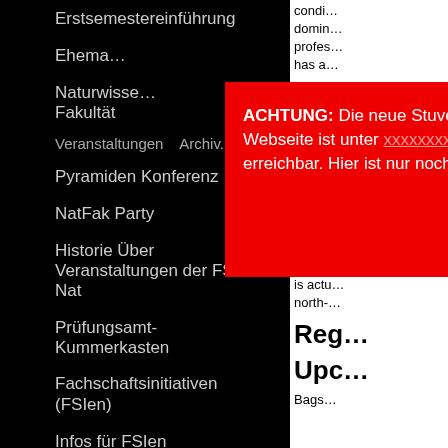Erstsemestereinführung
Ehema…
Naturwisse… Fakultät
[Figure (screenshot): Red popup overlay with ACHTUNG warning text about new Stuve website, with a close (X) button]
Veranstaltungen Archiv.
Pyramiden Konferenz
NatFak Party
Historie Über Veranstaltungen der FSV Nat
Prüfungsamt-Kummerkasten
Fachschaftsinitiativen (FSIen)
Infos für FSIen
Vernetzungstreffen
Haushaltsmittel
Sitzungen und Protokolle
condi… domin… profes… has a…
Taki…
From bond won t early lead e Olymp Additi tennis people is actu north-
Reg…
Upc…
Bags…